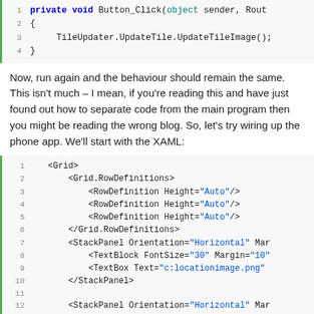[Figure (screenshot): Code block showing C# method: private void Button_Click(object sender, Rout... { TileUpdater.UpdateTile.UpdateTileImage(); }]
Now, run again and the behaviour should remain the same. This isn't much – I mean, if you're reading this and have just found out how to separate code from the main program then you might be reading the wrong blog. So, let's try wiring up the phone app. We'll start with the XAML:
[Figure (screenshot): XAML code block lines 1-14 showing Grid with RowDefinitions, StackPanels with TextBlock and TextBox elements]